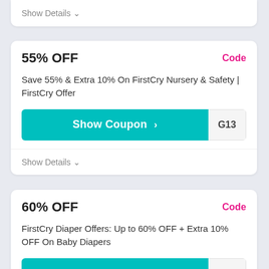Show Details ∨
55% OFF
Code
Save 55% & Extra 10% On FirstCry Nursery & Safety | FirstCry Offer
Show Coupon > G13
Show Details ∨
60% OFF
Code
FirstCry Diaper Offers: Up to 60% OFF + Extra 10% OFF On Baby Diapers